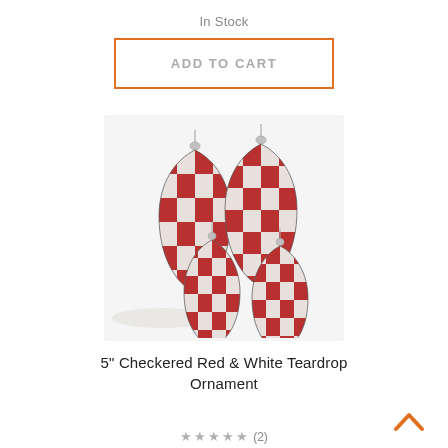In Stock
ADD TO CART
[Figure (photo): Four red and white checkered teardrop/finial shaped Christmas ornaments with silver caps and hooks, arranged in two rows of two.]
5" Checkered Red & White Teardrop Ornament
(2)